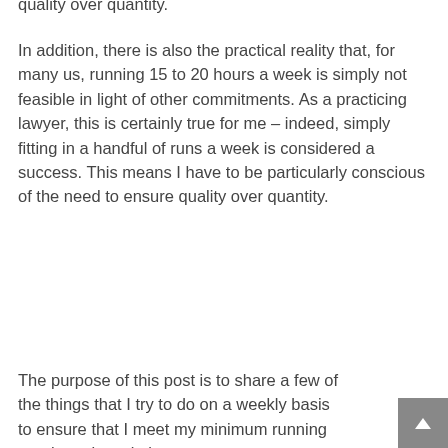quality over quantity.
In addition, there is also the practical reality that, for many us, running 15 to 20 hours a week is simply not feasible in light of other commitments. As a practicing lawyer, this is certainly true for me – indeed, simply fitting in a handful of runs a week is considered a success. This means I have to be particularly conscious of the need to ensure quality over quantity.
The purpose of this post is to share a few of the things that I try to do on a weekly basis to ensure that I meet my minimum running needs and maximize